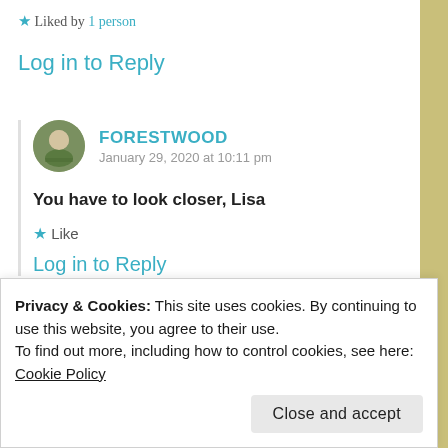★ Liked by 1 person
Log in to Reply
FORESTWOOD
January 29, 2020 at 10:11 pm
You have to look closer, Lisa
★ Like
Log in to Reply
Privacy & Cookies: This site uses cookies. By continuing to use this website, you agree to their use.
To find out more, including how to control cookies, see here: Cookie Policy